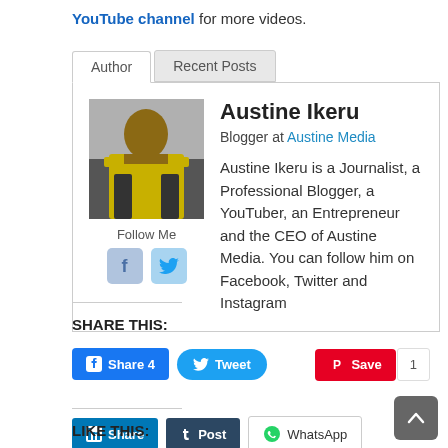YouTube channel for more videos.
[Figure (screenshot): Author bio card with tabs (Author / Recent Posts), photo of Austine Ikeru in yellow jacket, Follow Me with Facebook and Twitter icons, and bio text.]
SHARE THIS:
[Figure (infographic): Social share buttons: Facebook Share 4, Tweet, Pinterest Save with count 1]
[Figure (infographic): Social share buttons: LinkedIn Share, Tumblr Post, WhatsApp]
LIKE THIS:
[Figure (infographic): Scroll-to-top button (dark grey rounded square with up arrow chevron)]